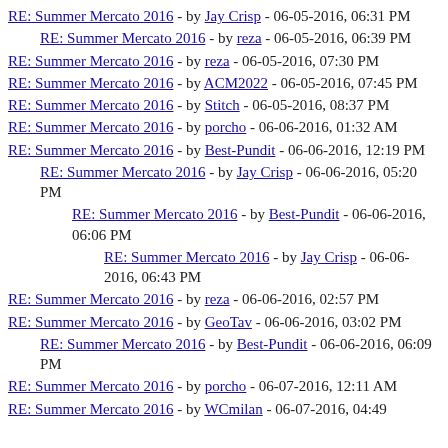RE: Summer Mercato 2016 - by Jay Crisp - 06-05-2016, 06:31 PM
RE: Summer Mercato 2016 - by reza - 06-05-2016, 06:39 PM
RE: Summer Mercato 2016 - by reza - 06-05-2016, 07:30 PM
RE: Summer Mercato 2016 - by ACM2022 - 06-05-2016, 07:45 PM
RE: Summer Mercato 2016 - by Stitch - 06-05-2016, 08:37 PM
RE: Summer Mercato 2016 - by porcho - 06-06-2016, 01:32 AM
RE: Summer Mercato 2016 - by Best-Pundit - 06-06-2016, 12:19 PM
RE: Summer Mercato 2016 - by Jay Crisp - 06-06-2016, 05:20 PM
RE: Summer Mercato 2016 - by Best-Pundit - 06-06-2016, 06:06 PM
RE: Summer Mercato 2016 - by Jay Crisp - 06-06-2016, 06:43 PM
RE: Summer Mercato 2016 - by reza - 06-06-2016, 02:57 PM
RE: Summer Mercato 2016 - by GeoTav - 06-06-2016, 03:02 PM
RE: Summer Mercato 2016 - by Best-Pundit - 06-06-2016, 06:09 PM
RE: Summer Mercato 2016 - by porcho - 06-07-2016, 12:11 AM
RE: Summer Mercato 2016 - by WCmilan - 06-07-2016, 04:49